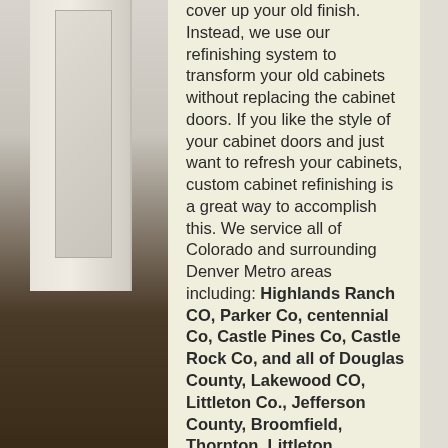[Figure (photo): Kitchen interior showing white painted cabinets with panel doors and dark hardwood floor, with a decorative apron hanging visible.]
cover up your old finish. Instead, we use our refinishing system to transform your old cabinets without replacing the cabinet doors. If you like the style of your cabinet doors and just want to refresh your cabinets, custom cabinet refinishing is a great way to accomplish this. We service all of Colorado and surrounding Denver Metro areas including: Highlands Ranch CO, Parker Co, centennial Co, Castle Pines Co, Castle Rock Co, and all of Douglas County, Lakewood CO, Littleton Co., Jefferson County, Broomfield, Thornton, Littleton, Arapahoe County, Adams County and all of Denver County,